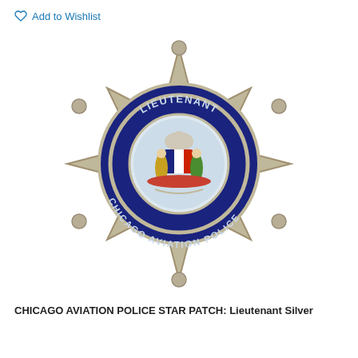Add to Wishlist
[Figure (photo): Chicago Aviation Police Lieutenant Silver star-shaped badge patch. Six-pointed silver star with a circular navy blue center reading 'CHICAGO AVIATION POLICE' and 'LIEUTENANT' at the top. Inside the circle is the Illinois state seal.]
CHICAGO AVIATION POLICE STAR PATCH: Lieutenant Silver